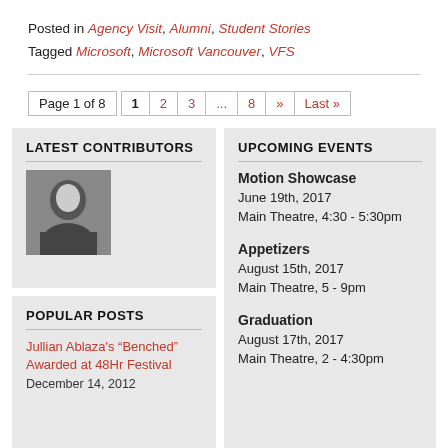Posted in Agency Visit, Alumni, Student Stories
Tagged Microsoft, Microsoft Vancouver, VFS
Page 1 of 8  1  2  3  ...  8  »  Last »
LATEST CONTRIBUTORS
[Figure (photo): Grayscale headshot photo of a woman]
POPULAR POSTS
Jullian Ablaza's “Benched” Awarded at 48Hr Festival
December 14, 2012
UPCOMING EVENTS
Motion Showcase
June 19th, 2017
Main Theatre, 4:30 - 5:30pm
Appetizers
August 15th, 2017
Main Theatre, 5 - 9pm
Graduation
August 17th, 2017
Main Theatre, 2 - 4:30pm
CATEGORIES
Agency Visit
Alumni